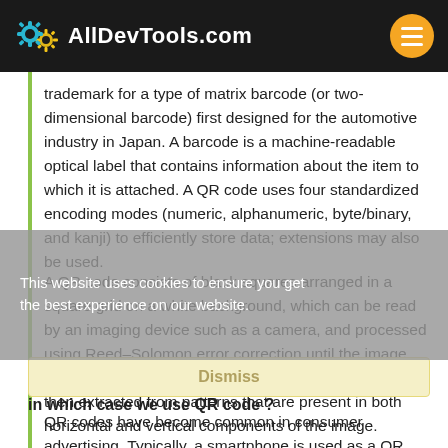AllDevTools.com
trademark for a type of matrix barcode (or two-dimensional barcode) first designed for the automotive industry in Japan. A barcode is a machine-readable optical label that contains information about the item to which it is attached. A QR code uses four standardized encoding modes (numeric, alphanumeric, byte/binary, and kanji) to efficiently store data; extensions may also be used.
A QR code consists of black squares arranged in a square grid on a white background, which can be read by an imaging device such as a camera, and processed using Reed–Solomon error correction until the image can be appropriately interpreted. The required data is then extracted from patterns that are present in both horizontal and vertical components of the image.
This website uses cookies to ensure you get the best experience on our website.
Dismiss
in which case we use QR code ?
QR codes have become common in consumer advertising. Typically, a smartphone is used as a QR